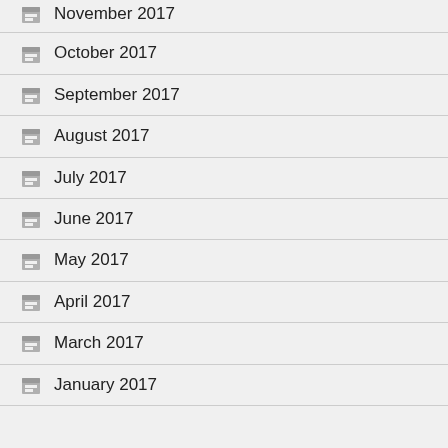November 2017
October 2017
September 2017
August 2017
July 2017
June 2017
May 2017
April 2017
March 2017
January 2017